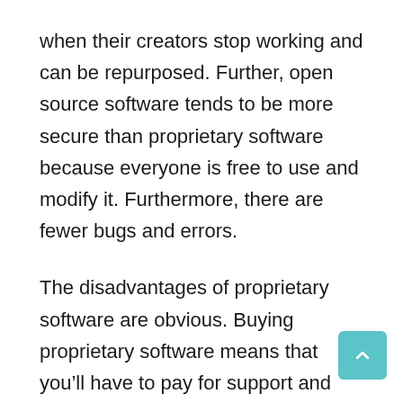when their creators stop working and can be repurposed. Further, open source software tends to be more secure than proprietary software because everyone is free to use and modify it. Furthermore, there are fewer bugs and errors.
The disadvantages of proprietary software are obvious. Buying proprietary software means that you'll have to pay for support and development, and you'll have to train your employees to work on it. On the other hand, open source software allows other developers to take over and develop it. This means that if one developer goes bankrupt, it won't lose clients or their content. But the benefits of open source outweigh the disadvantages.